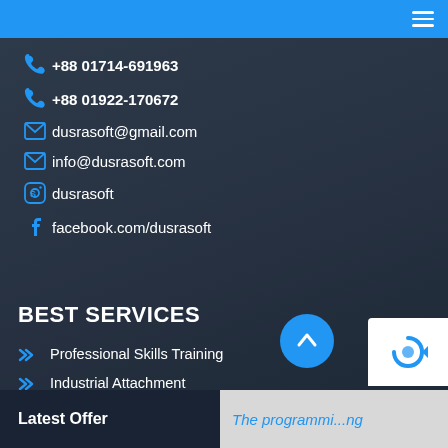Navigation menu header bar
+88 01714-691963
+88 01922-170672
dusrasoft@gmail.com
info@dusrasoft.com
dusrasoft
facebook.com/dusrasoft
BEST SERVICES
Professional Skills Training
Industrial Attachment
Web Development
Software Development
Latest Offer
The programmi...ng